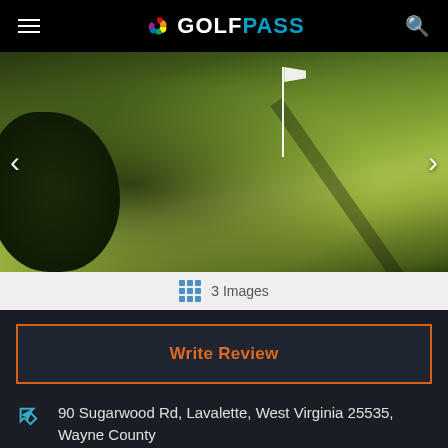GOLFPASS
[Figure (photo): Golf course green with flag and sand bunker, navigation arrows on left and right sides]
3 Images
Write Review
90 Sugarwood Rd, Lavalette, West Virginia 25535, Wayne County
(304) 523-6500
Course Website
[Figure (map): Map thumbnail showing road layout near Lavalette, West Virginia with route markers 7/2 and 52/46]